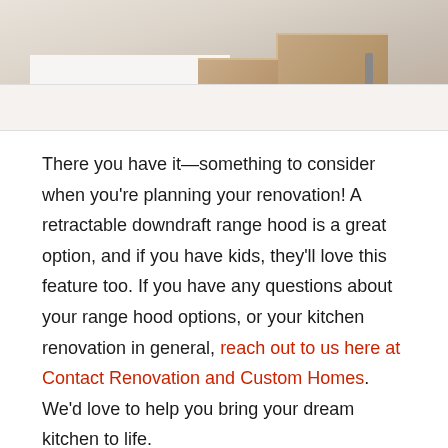[Figure (photo): Kitchen image showing white countertop and wooden cabinet drawers]
There you have it—something to consider when you're planning your renovation! A retractable downdraft range hood is a great option, and if you have kids, they'll love this feature too. If you have any questions about your range hood options, or your kitchen renovation in general, reach out to us here at Contact Renovation and Custom Homes. We'd love to help you bring your dream kitchen to life.